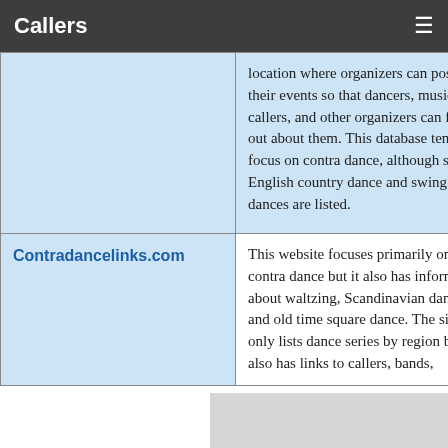Callers
|  | location where organizers can post their events so that dancers, musicians, callers, and other organizers can find out about them. This database tends to focus on contra dance, although some English country dance and swing dances are listed. |
| Contradancelinks.com | This website focuses primarily on contra dance but it also has information about waltzing, Scandinavian dance, and old time square dance. The site not only lists dance series by region but also has links to callers, bands, |